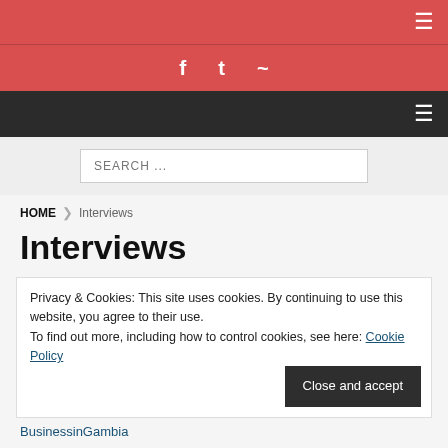Top navigation bar with menu icon
Social icons bar: Facebook, Twitter, RSS
Dark navigation bar with menu icon
SEARCH ...
HOME > Interviews
Interviews
Privacy & Cookies: This site uses cookies. By continuing to use this website, you agree to their use.
To find out more, including how to control cookies, see here: Cookie Policy
Close and accept
BusinessinGambia